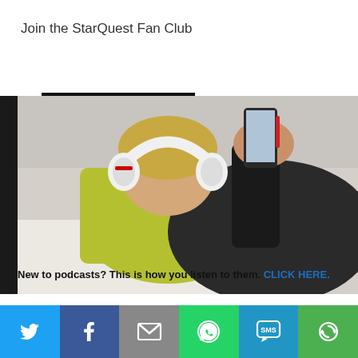×
Join the StarQuest Fan Club
Subscribe
[Figure (photo): Person lying on a couch with white headphones on, holding a smartphone, wearing a black top, with a yellow-green pillow behind them.]
New to podcasts? This is how you listen to them. CLICK HERE.
Social sharing bar with icons: Twitter, Facebook, Email, WhatsApp, SMS, More